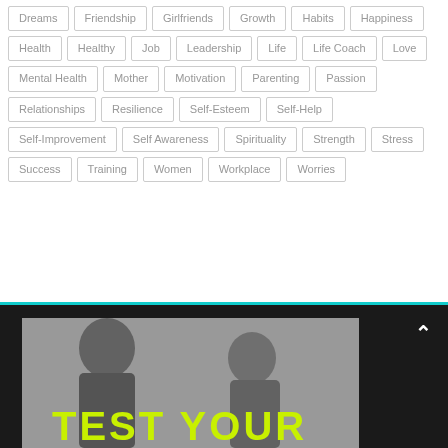Dreams
Friendship
Girlfriends
Growth
Habits
Happiness
Health
Healthy
Job
Leadership
Life
Life Coach
Love
Mental Health
Mother
Motivation
Parenting
Passion
Relationships
Resilience
Self-Esteem
Self-Help
Self-Improvement
Self Awareness
Spirituality
Strength
Stress
Success
Training
Women
Workplace
Worries
[Figure (photo): Two men in grayscale photo facing each other, with bold yellow-green text overlay reading 'TEST YOUR']